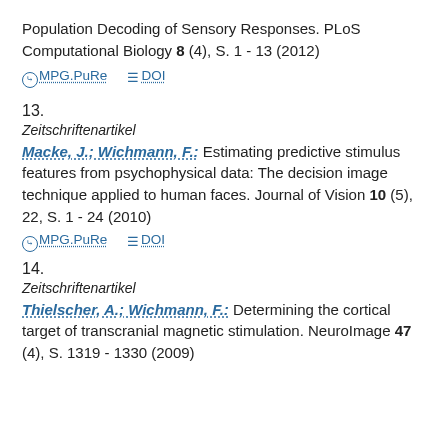Population Decoding of Sensory Responses. PLoS Computational Biology 8 (4), S. 1 - 13 (2012)
MPG.PuRe   DOI
13.
Zeitschriftenartikel
Macke, J.; Wichmann, F.: Estimating predictive stimulus features from psychophysical data: The decision image technique applied to human faces. Journal of Vision 10 (5), 22, S. 1 - 24 (2010)
MPG.PuRe   DOI
14.
Zeitschriftenartikel
Thielscher, A.; Wichmann, F.: Determining the cortical target of transcranial magnetic stimulation. NeuroImage 47 (4), S. 1319 - 1330 (2009)